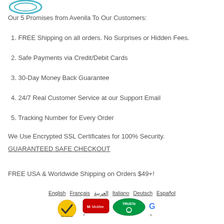[Figure (logo): Avenila logo partial circle in teal/blue at top left]
Our 5 Promises from Avenila To Our Customers:
1. FREE Shipping on all orders. No Surprises or Hidden Fees.
2. Safe Payments via Credit/Debit Cards
3. 30-Day Money Back Guarantee
4. 24/7 Real Customer Service at our Support Email
5. Tracking Number for Every Order
We Use Encrypted SSL Certificates for 100% Security.
GUARANTEED SAFE CHECKOUT
FREE USA & Worldwide Shipping on Orders $49+!
[Figure (infographic): Footer trust badges: Norton, McAfee, TRUSTe, Google security logos with language links: English, Français, العربية, Italiano, Deutsch, Español]